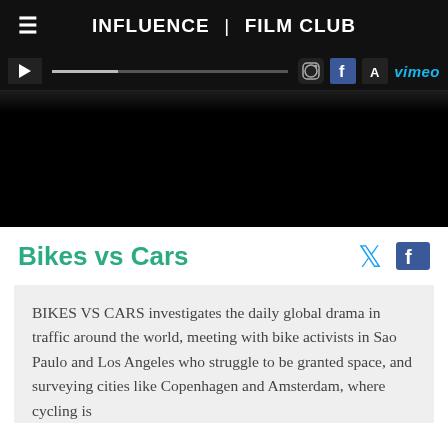INFLUENCE | FILM CLUB
[Figure (screenshot): Video player banner showing dark/black background with playback controls bar at top including play button, progress bar, and social/sharing icons including Instagram, Facebook, Tumblr, and Vimeo logos]
Bikes vs Cars
BIKES VS CARS investigates the daily global drama in traffic around the world, meeting with bike activists in Sao Paulo and Los Angeles who struggle to be granted space, and surveying cities like Copenhagen and Amsterdam, where cycling is